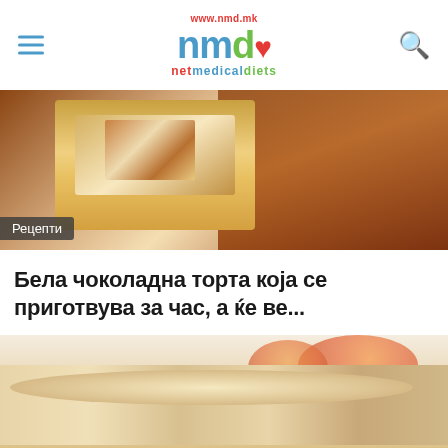www.nmd.mk nmd netmedicaldiets
[Figure (photo): Close-up photo of a white chocolate layered cake slice showing cream and chocolate layers, with dark chocolate cake in the background]
Рецепти
Бела чоколадна торта која се приготвува за час, а ќе ве...
[Figure (photo): Close-up photo of a coconut-topped cake slice with fruit visible in the background]